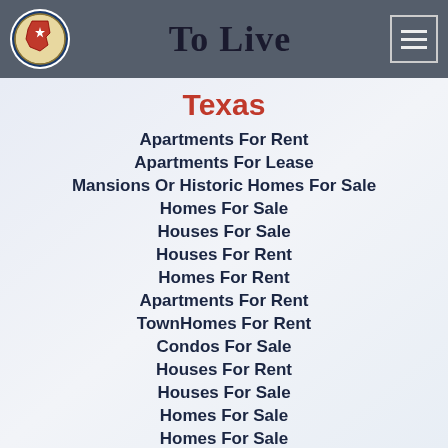To Live
Texas
Apartments For Rent
Apartments For Lease
Mansions Or Historic Homes For Sale
Homes For Sale
Houses For Sale
Houses For Rent
Homes For Rent
Apartments For Rent
TownHomes For Rent
Condos For Sale
Houses For Rent
Houses For Sale
Homes For Sale
Homes For Sale
New Homes For Sale
Cheap Apartments